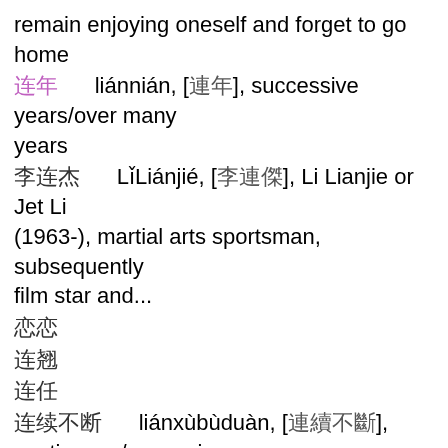remain enjoying oneself and forget to go home
连年  liánnián, [連年], successive years/over many years
李连杰  LǐLiánjié, [李連傑], Li Lianjie or Jet Li (1963-), martial arts sportsman, subsequently film star and...
恋恋
连翘
连任
连续不断  liánxùbùduàn, [連續不斷], continuous/unceasing
流连  liúlián, [流連], variant of 流连|流連[liú lián]
留连
留连忘返
三连胜  sānliánshèng, [三連勝], hat-trick (sports)
连枷  liánjiā, [連枷], flail
连结